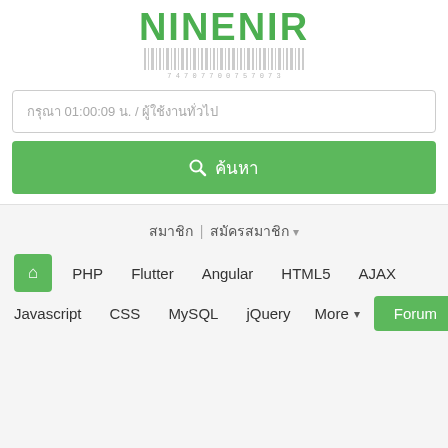[Figure (logo): NINENIR green logo text with barcode underneath]
กรุณา 01:00:09 น. / ผู้ใช้งานทั่วไป
ค้นหา
สมาชิก | สมัครสมาชิก ▾
🏠 PHP Flutter Angular HTML5 AJAX
Javascript CSS MySQL jQuery More ▾ Forum